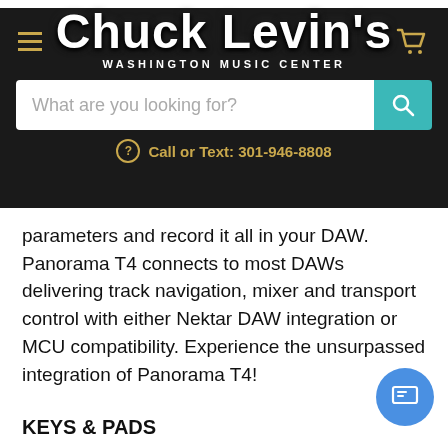Chuck Levin's Washington Music Center
parameters and record it all in your DAW. Panorama T4 connects to most DAWs delivering track navigation, mixer and transport control with either Nektar DAW integration or MCU compatibility. Experience the unsurpassed integration of Panorama T4!
KEYS & PADS
49 or 61 note 2nd Gen synth-action keyboard with